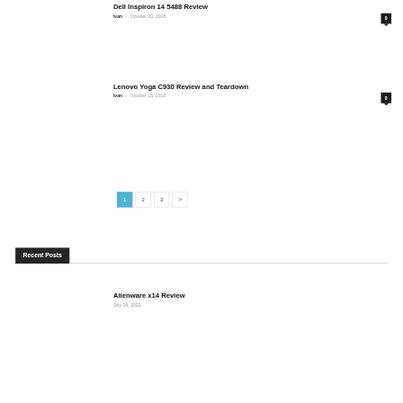Dell Inspiron 14 5488 Review
Ivan - October 23, 2018
Lenovo Yoga C930 Review and Teardown
Ivan - October 16, 2018
1
2
3
>
Recent Posts
Alienware x14 Review
July 14, 2022